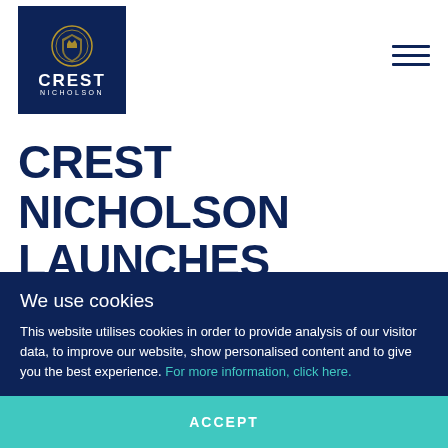[Figure (logo): Crest Nicholson logo: dark navy blue square with gold emblem and white text reading CREST NICHOLSON]
CREST NICHOLSON LAUNCHES BRAND NEW SHOW HOMES AT
We use cookies
This website utilises cookies in order to provide analysis of our visitor data, to improve our website, show personalised content and to give you the best experience. For more information, click here.
ACCEPT